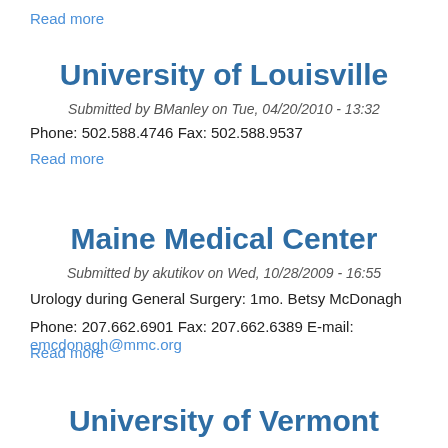Read more
University of Louisville
Submitted by BManley on Tue, 04/20/2010 - 13:32
Phone: 502.588.4746 Fax: 502.588.9537
Read more
Maine Medical Center
Submitted by akutikov on Wed, 10/28/2009 - 16:55
Urology during General Surgery: 1mo. Betsy McDonagh
Phone: 207.662.6901 Fax: 207.662.6389 E-mail: emcdonagh@mmc.org
Read more
University of Vermont